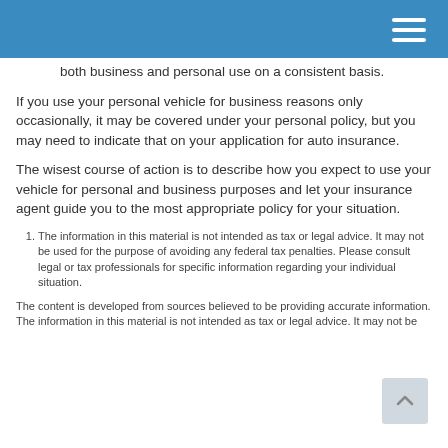both business and personal use on a consistent basis.
If you use your personal vehicle for business reasons only occasionally, it may be covered under your personal policy, but you may need to indicate that on your application for auto insurance.
The wisest course of action is to describe how you expect to use your vehicle for personal and business purposes and let your insurance agent guide you to the most appropriate policy for your situation.
1. The information in this material is not intended as tax or legal advice. It may not be used for the purpose of avoiding any federal tax penalties. Please consult legal or tax professionals for specific information regarding your individual situation.
The content is developed from sources believed to be providing accurate information. The information in this material is not intended as tax or legal advice. It may not be